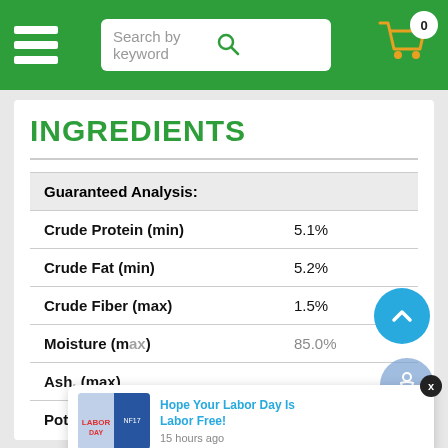Search by keyword
INGREDIENTS
| Guaranteed Analysis: |  |
| --- | --- |
| Crude Protein (min) | 5.1% |
| Crude Fat (min) | 5.2% |
| Crude Fiber (max) | 1.5% |
| Moisture (max) | 85.0% |
| Ash, (max) |  |
| Potassium (min) | 0.1% |
Hope Your Labor Day Is Labor Free! 15 hours ago